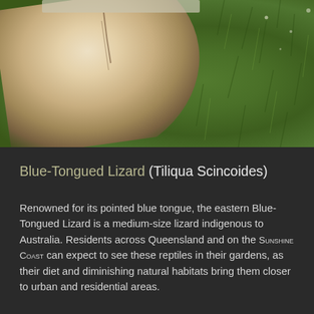[Figure (photo): Close-up photo of a Blue-Tongued Lizard's underside/belly (pale beige-cream coloring) against a bright green grass background. The lizard's smooth pale underbelly is visible in the upper-left portion of the image, with lush green grass filling the rest of the frame.]
Blue-Tongued Lizard (Tiliqua Scincoides)
Renowned for its pointed blue tongue, the eastern Blue-Tongued Lizard is a medium-size lizard indigenous to Australia. Residents across Queensland and on the Sunshine Coast can expect to see these reptiles in their gardens, as their diet and diminishing natural habitats bring them closer to urban and residential areas.